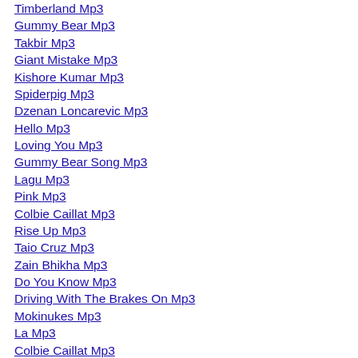Timberland Mp3
Gummy Bear Mp3
Takbir Mp3
Giant Mistake Mp3
Kishore Kumar Mp3
Spiderpig Mp3
Dzenan Loncarevic Mp3
Hello Mp3
Loving You Mp3
Gummy Bear Song Mp3
Lagu Mp3
Pink Mp3
Colbie Caillat Mp3
Rise Up Mp3
Taio Cruz Mp3
Zain Bhikha Mp3
Do You Know Mp3
Driving With The Brakes On Mp3
Mokinukes Mp3
La Mp3
Colbie Caillat Mp3
Edda Mp3
Naat Mp3
Shut Up And Drive Mp3
Kailash Kher Mp3
Bhooma Mp3